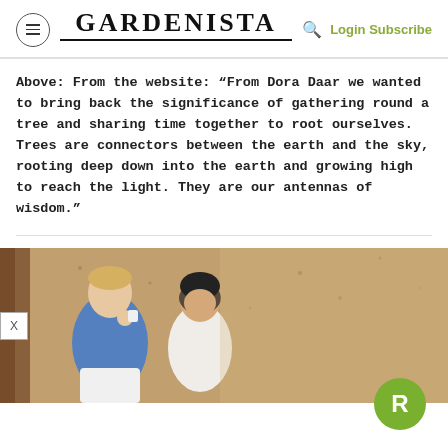GARDENISTA  Login Subscribe
Above: From the website: “From Dora Daar we wanted to bring back the significance of gathering round a tree and sharing time together to root ourselves. Trees are connectors between the earth and the sky, rooting deep down into the earth and growing high to reach the light. They are our antennas of wisdom.”
[Figure (photo): Two women sitting outdoors on gravelled ground, one in a blue shirt and one in white, appearing to be in conversation. The background shows a textured gravel or bark ground cover.]